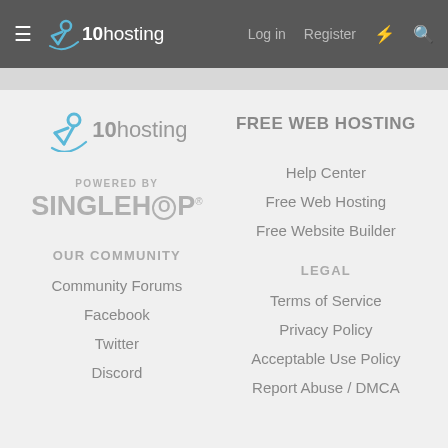≡ x10hosting  Log in  Register  ⚡  🔍
[Figure (logo): x10hosting logo in footer]
FREE WEB HOSTING
Help Center
Free Web Hosting
Free Website Builder
POWERED BY
[Figure (logo): SINGLEHOP logo]
OUR COMMUNITY
LEGAL
Community Forums
Terms of Service
Facebook
Privacy Policy
Twitter
Acceptable Use Policy
Discord
Report Abuse / DMCA